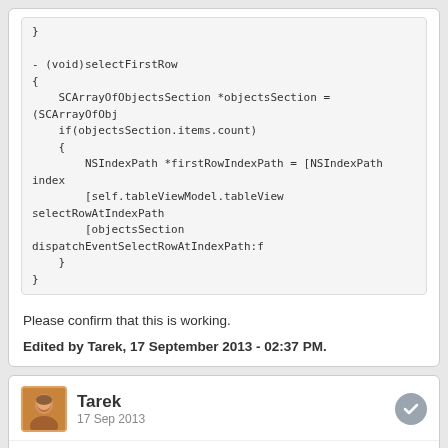}

- (void)selectFirstRow
{
    SCArrayOfObjectsSection *objectsSection = (SCArrayOfObj
    if(objectsSection.items.count)
    {
        NSIndexPath *firstRowIndexPath = [NSIndexPath index
        [self.tableViewModel.tableView selectRowAtIndexPath
        [objectsSection dispatchEventSelectRowAtIndexPath:f
    }
}
Please confirm that this is working.
Edited by Tarek, 17 September 2013 - 02:37 PM.
Tarek
17 Sep 2013
Alternatively, you can also dispatch the event from DetailViewController itself (which might be an even better solution). Just place the following code in your DetailViewController:
- (void)viewDidAppear:(BOOL)animated
{